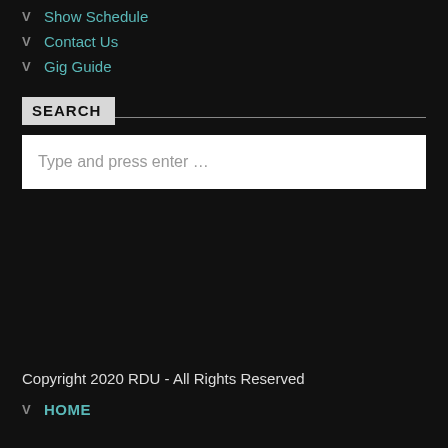Show Schedule
Contact Us
Gig Guide
SEARCH
Type and press enter …
Copyright 2020 RDU - All Rights Reserved
HOME